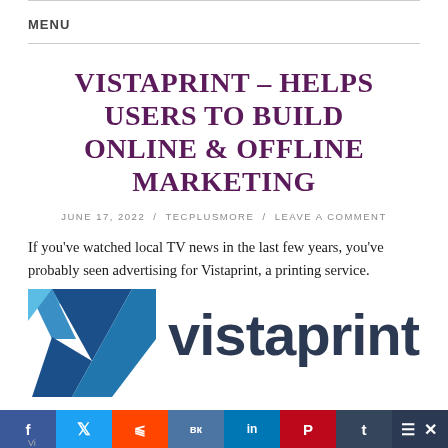MENU
VISTAPRINT – HELPS USERS TO BUILD ONLINE & OFFLINE MARKETING
JUNE 17, 2022 / TECPLUSMORE / LEAVE A COMMENT
If you've watched local TV news in the last few years, you've probably seen advertising for Vistaprint, a printing service.
[Figure (logo): Vistaprint logo: blue/teal geometric V shape on the left, and the word 'vistaprint' in dark navy bold sans-serif on the right]
[Figure (infographic): Social sharing bar with icons for Facebook (f), Twitter (bird), Reddit (alien), VK, LinkedIn (in), Pinterest (P), Tumblr (t), and a hamburger/close menu, in their respective brand colors]